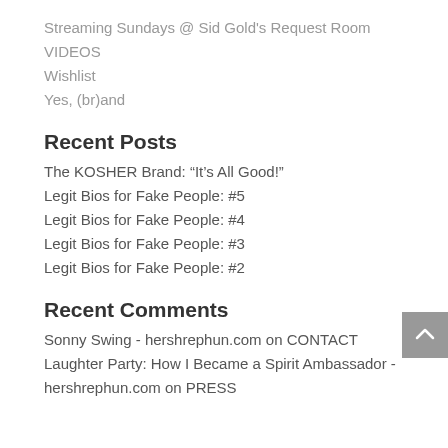Streaming Sundays @ Sid Gold's Request Room
VIDEOS
Wishlist
Yes, (br)and
Recent Posts
The KOSHER Brand: “It’s All Good!”
Legit Bios for Fake People: #5
Legit Bios for Fake People: #4
Legit Bios for Fake People: #3
Legit Bios for Fake People: #2
Recent Comments
Sonny Swing - hershrephun.com on CONTACT
Laughter Party: How I Became a Spirit Ambassador - hershrephun.com on PRESS